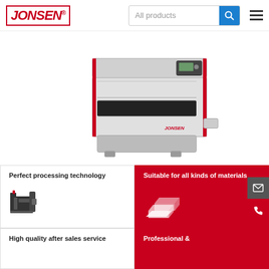JONSEN — All products search bar and hamburger menu
[Figure (photo): Industrial wide-belt sanding machine, white and grey body with red accents, control panel on top right, feed tray extended]
Perfect processing technology
[Figure (illustration): Dark icon of a sanding/grinding machine head]
Suitable for all kinds of materials
[Figure (illustration): White icon of stacked metal ingots/bars on red background]
High quality after sales service
Professional &